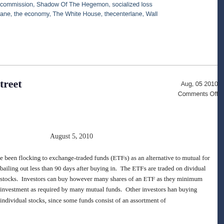commission, Shadow Of The Hegemon, socialized loss
ane, the economy, The White House, thecenterlane, Wall
treet
Aug, 05 2010
Comments Off
August 5, 2010
e been flocking to exchange-traded funds (ETFs) as an alternative to mutual for bailing out less than 90 days after buying in. The ETFs are traded on dividual stocks. Investors can buy however many shares of an ETF as they minimum investment as required by many mutual funds. Other investors han buying individual stocks, since some funds consist of an assortment of
favorite commentators, Paul Farrell of MarketWatch, is focused on the ETFs r than stocks. As it turns out, the commodity ETFs have turned out to be yet of mass financial destruction. Paul Farrell brings the reader's attention to a ect – all of which bear a theme similar to the title of Mr. Farrell's piece:
.
rom Bloomberg BusinessWeek, exposing the hazards inherent in